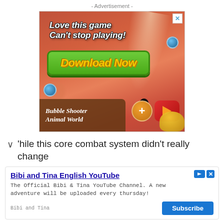- Advertisement -
[Figure (screenshot): Mobile game advertisement for 'Bubble Shooter Animal World' showing colorful game graphics with text 'Love this game Can't stop playing!' and a green 'Download Now' button on a warm red/orange background with game characters including a penguin, bubbles, and coins.]
'hile this core combat system didn't really change
Bibi and Tina English YouTube
The Official Bibi & Tina YouTube Channel. A new adventure will be uploaded every thursday!
Bibi and Tina
Subscribe